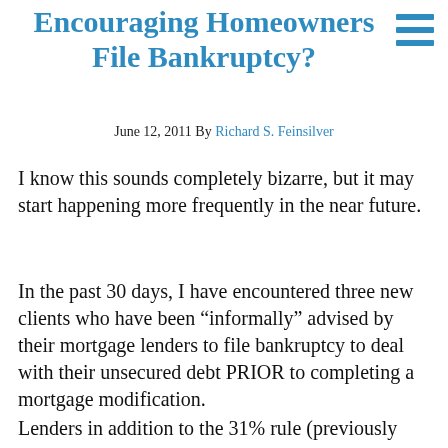Encouraging Homeowners File Bankruptcy?
June 12, 2011 By Richard S. Feinsilver
I know this sounds completely bizarre, but it may start happening more frequently in the near future.
In the past 30 days, I have encountered three new clients who have been “informally” advised by their mortgage lenders to file bankruptcy to deal with their unsecured debt PRIOR to completing a mortgage modification.
Lenders in addition to the 31% rule (previously